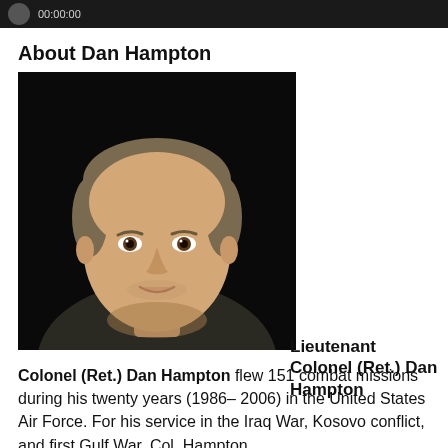[Figure (screenshot): Dark toolbar bar with circular icon and timestamp text '00:00:00']
About Dan Hampton
[Figure (photo): Portrait photo of Dan Hampton, a middle-aged man with short gray-brown hair wearing a dark jacket, photographed against a black background]
Lieutenant Colonel (Ret.) Dan Hampton flew 151 combat missions during his twenty years (1986– 2006) in the United States Air Force. For his service in the Iraq War, Kosovo conflict, and first Gulf War, Col. Hampton